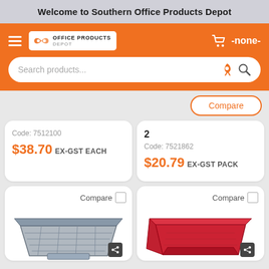Welcome to Southern Office Products Depot
[Figure (screenshot): Orange navigation bar with hamburger menu, Office Products Depot logo, and shopping cart with -none- text]
Search products...
Compare
Code: 7512100
$38.70 Ex-GST EACH
2
Code: 7521862
$20.79 Ex-GST PACK
Compare ☐
[Figure (photo): Metal mesh desk letter tray / document tray in dark grey/black color]
Compare ☐
[Figure (photo): Red plastic desk letter tray / document tray]